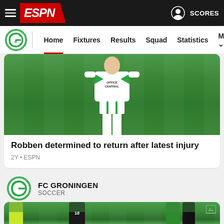ESPN — FC Groningen — Home Fixtures Results Squad Statistics More — SCORES
[Figure (screenshot): ESPN website header navigation bar with hamburger menu, ESPN logo in red, and SCORES button on right]
[Figure (photo): FC Groningen player in white kit with Office Central sponsor walking on green pitch]
Robben determined to return after latest injury
2Y • ESPN
FC GRONINGEN
SOCCER
[Figure (photo): Soccer match scene with referee in yellow, player wearing number 18 in black kit, and Robben being assisted off pitch by staff]